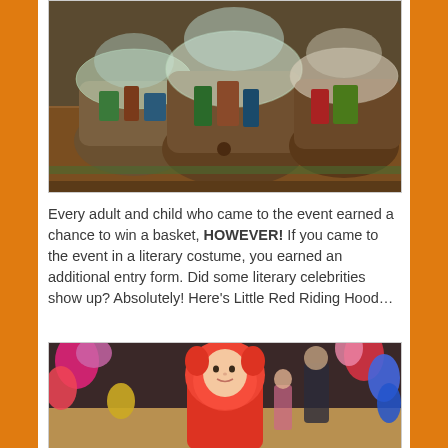[Figure (photo): Photo of gift baskets wrapped in clear cellophane on a table, containing various items including books and toys, displayed at an event.]
Every adult and child who came to the event earned a chance to win a basket, HOWEVER! If you came to the event in a literary costume, you earned an additional entry form. Did some literary celebrities show up? Absolutely! Here's Little Red Riding Hood…
[Figure (photo): Photo of a young child dressed as Little Red Riding Hood in a red hooded jacket, standing among colorful balloons at the event.]